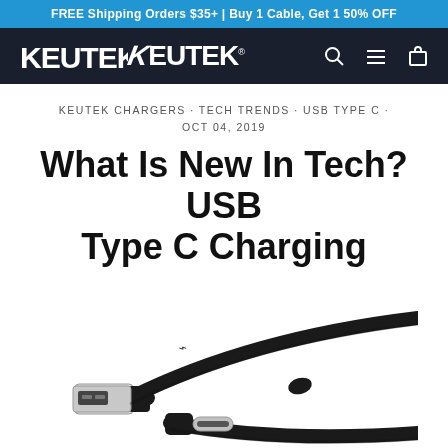FREE Shipping Orders $35+ | Buy 1 Cable, Get 1 50% OFF
[Figure (logo): KEUTEK brand logo in white on dark navy background with search, menu and cart icons]
KEUTEK CHARGERS · TECH TRENDS · USB TYPE C · OCT 04, 2019
What Is New In Tech? USB Type C Charging
[Figure (photo): Black USB Type-C cable showing both USB-A connector end and USB-C connector end against white background]